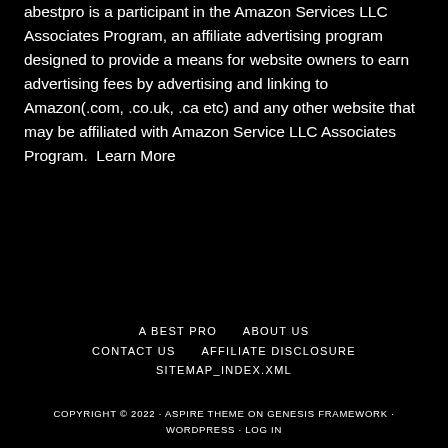abestpro is a participant in the Amazon Services LLC Associates Program, an affiliate advertising program designed to provide a means for website owners to earn advertising fees by advertising and linking to Amazon(.com, .co.uk, .ca etc) and any other website that may be affiliated with Amazon Service LLC Associates Program.  Learn More
A BEST PRO   ABOUT US   CONTACT US   AFFILIATE DISCLOSURE   SITEMAP_INDEX.XML
COPYRIGHT © 2022 · ASPIRE THEME ON GENESIS FRAMEWORK · WORDPRESS · LOG IN